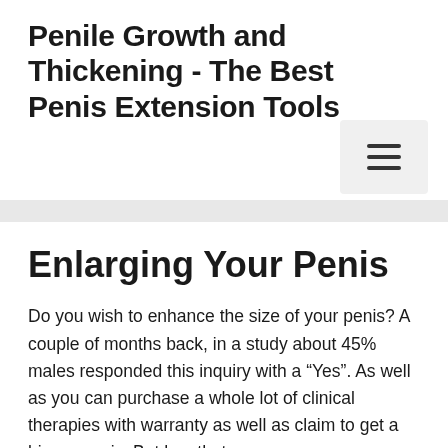Penile Growth and Thickening - The Best Penis Extension Tools
Enlarging Your Penis
Do you wish to enhance the size of your penis? A couple of months back, in a study about 45% males responded this inquiry with a “Yes”. As well as you can purchase a whole lot of clinical therapies with warranty as well as claim to get a bigger penis. But has that